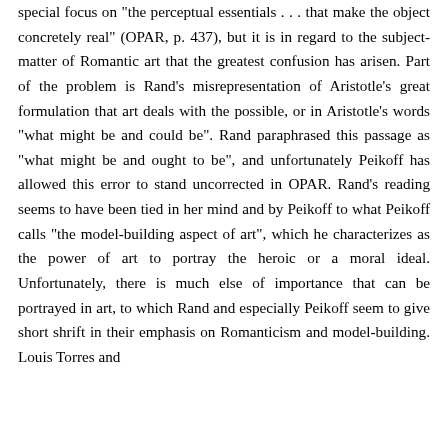special focus on "the perceptual essentials . . . that make the object concretely real" (OPAR, p. 437), but it is in regard to the subject-matter of Romantic art that the greatest confusion has arisen. Part of the problem is Rand's misrepresentation of Aristotle's great formulation that art deals with the possible, or in Aristotle's words "what might be and could be". Rand paraphrased this passage as "what might be and ought to be", and unfortunately Peikoff has allowed this error to stand uncorrected in OPAR. Rand's reading seems to have been tied in her mind and by Peikoff to what Peikoff calls "the model-building aspect of art", which he characterizes as the power of art to portray the heroic or a moral ideal. Unfortunately, there is much else of importance that can be portrayed in art, to which Rand and especially Peikoff seem to give short shrift in their emphasis on Romanticism and model-building. Louis Torres and